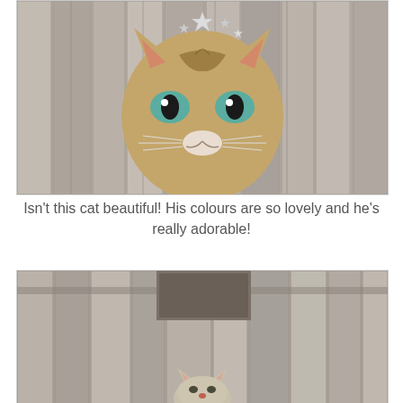[Figure (photo): Close-up photo of a tabby cat with green eyes peeking through a wooden fence, wearing small decorative star accessories on its head.]
Isn't this cat beautiful! His colours are so lovely and he's really adorable!
[Figure (photo): Photo of a small light-colored cat (possibly Siamese or similar) peeking up over the bottom edge of a wooden fence, ears and top of head visible.]